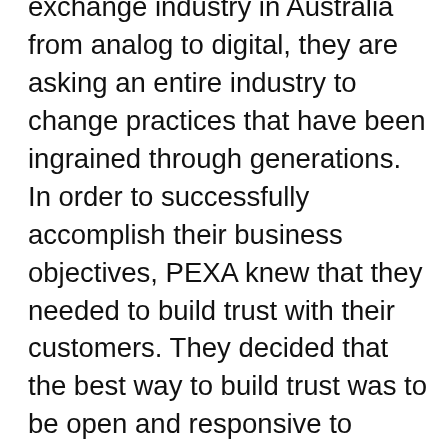exchange industry in Australia from analog to digital, they are asking an entire industry to change practices that have been ingrained through generations. In order to successfully accomplish their business objectives, PEXA knew that they needed to build trust with their customers. They decided that the best way to build trust was to be open and responsive to feedback from their customers and potential customers. But the problem was access: many of their customers were isolated to state or regional cohorts, or they were limited by Australia's geographical boundaries. There was no centralized location to offer a connection among people in the industry. And, when people were communicating about PEXA on social, the brand didn't own the conversations and therefore they could not shape or contribute to those conversations. PEXA wanted to build a centralized